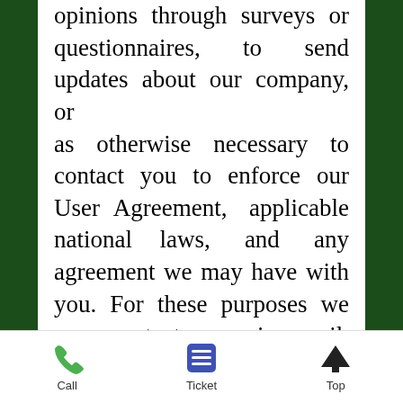opinions through surveys or questionnaires, to send updates about our company, or as otherwise necessary to contact you to enforce our User Agreement, applicable national laws, and any agreement we may have with you. For these purposes we may contact you via email, telephone, text messages, and postal mail.
We reserve the right to modify this privacy policy at any time...
Call   Ticket   Top